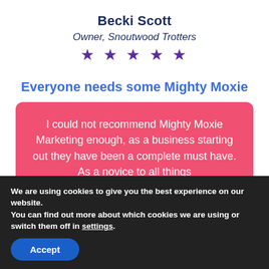Becki Scott
Owner, Snoutwood Trotters
★ ★ ★ ★ ★
Everyone needs some Mighty Moxie
I could not recommend Mighty Moxie Marketing enough, as a business starting out they have been a complete must have. As a novice to all things
We are using cookies to give you the best experience on our website.
You can find out more about which cookies we are using or switch them off in settings.
Accept